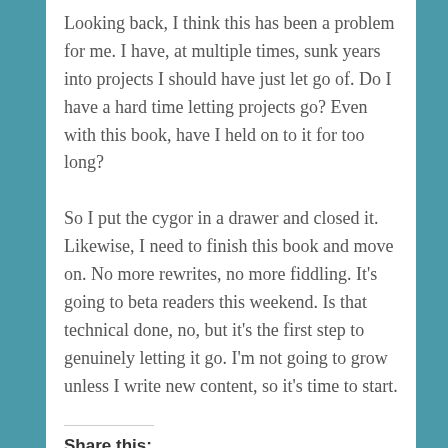Looking back, I think this has been a problem for me. I have, at multiple times, sunk years into projects I should have just let go of. Do I have a hard time letting projects go? Even with this book, have I held on to it for too long?
So I put the cygor in a drawer and closed it. Likewise, I need to finish this book and move on. No more rewrites, no more fiddling. It's going to beta readers this weekend. Is that technical done, no, but it's the first step to genuinely letting it go. I'm not going to grow unless I write new content, so it's time to start.
Share this: